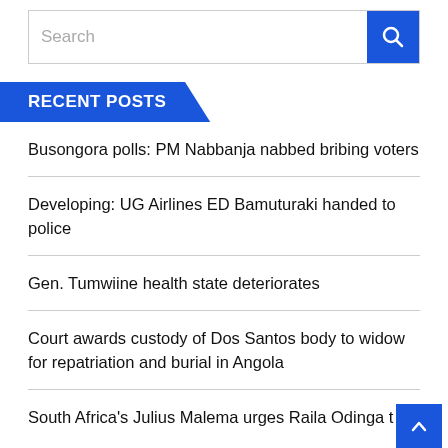[Figure (screenshot): Search bar with blue search button containing magnifying glass icon]
RECENT POSTS
Busongora polls: PM Nabbanja nabbed bribing voters
Developing: UG Airlines ED Bamuturaki handed to police
Gen. Tumwiine health state deteriorates
Court awards custody of Dos Santos body to widow for repatriation and burial in Angola
South Africa's Julius Malema urges Raila Odinga t…